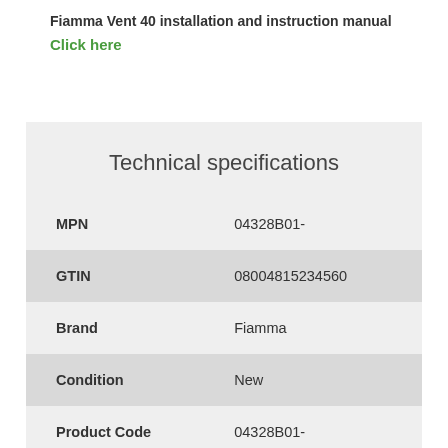Fiamma Vent 40 installation and instruction manual
Click here
Technical specifications
| Attribute | Value |
| --- | --- |
| MPN | 04328B01- |
| GTIN | 08004815234560 |
| Brand | Fiamma |
| Condition | New |
| Product Code | 04328B01- |